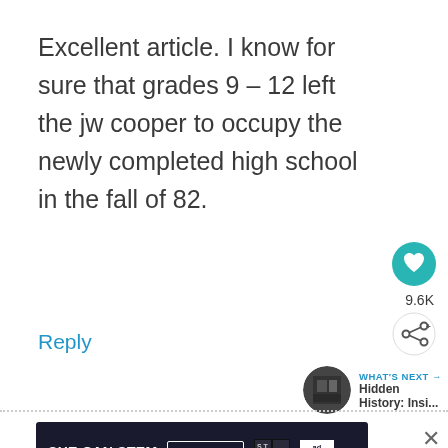Excellent article. I know for sure that grades 9 – 12 left the jw cooper to occupy the newly completed high school in the fall of 82.
Reply
[Figure (other): Heart/like button (teal circle with heart icon) showing 9.6K likes, and a share button below it]
[Figure (other): What's Next panel with thumbnail image and text 'Hidden History: Insi...']
[Figure (other): Dotted horizontal divider line]
[Figure (other): Advertisement banner: SHE CAN STEM with Learn More button, STEM and Ad Council logos, on dark background]